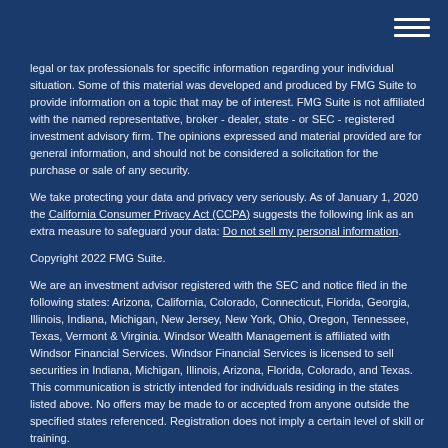legal or tax professionals for specific information regarding your individual situation. Some of this material was developed and produced by FMG Suite to provide information on a topic that may be of interest. FMG Suite is not affiliated with the named representative, broker - dealer, state - or SEC - registered investment advisory firm. The opinions expressed and material provided are for general information, and should not be considered a solicitation for the purchase or sale of any security.
We take protecting your data and privacy very seriously. As of January 1, 2020 the California Consumer Privacy Act (CCPA) suggests the following link as an extra measure to safeguard your data: Do not sell my personal information.
Copyright 2022 FMG Suite.
We are an investment advisor registered with the SEC and notice filed in the following states: Arizona, California, Colorado, Connecticut, Florida, Georgia, Illinois, Indiana, Michigan, New Jersey, New York, Ohio, Oregon, Tennessee, Texas, Vermont & Virginia. Windsor Wealth Management is affiliated with Windsor Financial Services. Windsor Financial Services is licensed to sell securities in Indiana, Michigan, Illinois, Arizona, Florida, Colorado, and Texas. This communication is strictly intended for individuals residing in the states listed above. No offers may be made to or accepted from anyone outside the specified states referenced. Registration does not imply a certain level of skill or training.